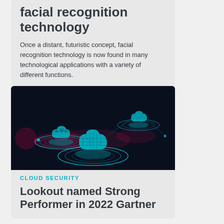facial recognition technology
Once a distant, futuristic concept, facial recognition technology is now found in many technological applications with a variety of different functions.
[Figure (illustration): Dark tech illustration showing three glowing teal/cyan digital cloud or padlock icons on circular ring platforms against a dark navy background, with pink/red light accents — representing cloud security concepts.]
CLOUD SECURITY
Lookout named Strong Performer in 2022 Gartner